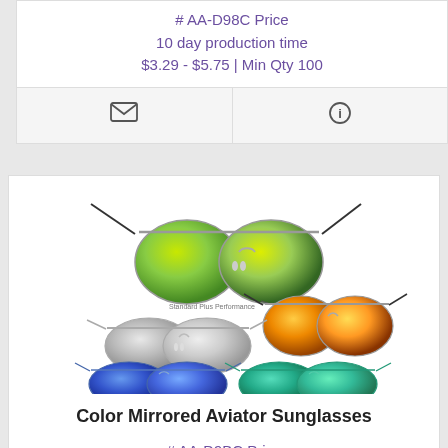# AA-D98C Price
10 day production time
$3.29 - $5.75 | Min Qty 100
[Figure (other): Icon bar with email and info icons]
[Figure (photo): Color mirrored aviator sunglasses product image showing multiple color variants: green/yellow mirror, orange mirror, silver, blue mirror, and teal/green mirror styles]
Color Mirrored Aviator Sunglasses
# AA-D9BC Price
10 day production time
$3.29 - $5.75 | Min Qty 100